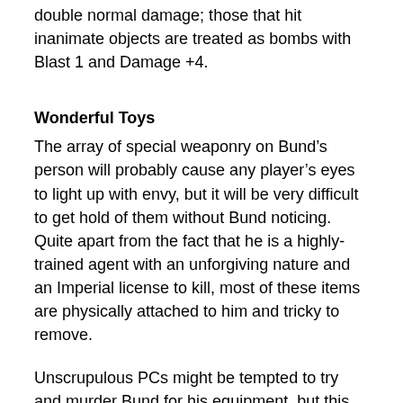double normal damage; those that hit inanimate objects are treated as bombs with Blast 1 and Damage +4.
Wonderful Toys
The array of special weaponry on Bund’s person will probably cause any player’s eyes to light up with envy, but it will be very difficult to get hold of them without Bund noticing. Quite apart from the fact that he is a highly-trained agent with an unforgiving nature and an Imperial license to kill, most of these items are physically attached to him and tricky to remove.
Unscrupulous PCs might be tempted to try and murder Bund for his equipment, but this will not be easy — even in the midst of a horde of Skaven. In the unlikely event that they succeed, the PCs will find themselves hunted